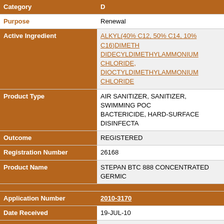| Field | Value |
| --- | --- |
| Category | D |
| Purpose | Renewal |
| Active Ingredient | ALKYL(40% C12, 50% C14, 10% C16)DIMETH DIDECYLDIMETHYLAMMONIUM CHLORIDE, DIOCTYLDIMETHYLAMMONIUM CHLORIDE |
| Product Type | AIR SANITIZER, SANITIZER, SWIMMING POC BACTERICIDE, HARD-SURFACE DISINFECTA |
| Outcome | REGISTERED |
| Registration Number | 26168 |
| Product Name | STEPAN BTC 888 CONCENTRATED GERMIC |
| Application Number | 2010-3170 |
| Date Received | 19-JUL-10 |
| Category | D |
| Purpose | Renewal |
| Active Ingredient | ALKYL(40% C12, 50% C14, 10% C16)DIMETH DIDECYLDIMETHYLAMMONIUM CHLORIDE, DIOCTYLDIMETHYLAMMONIUM CHLORIDE |
| Product Type | AIR SANITIZER, SANITIZER, SWIMMING POC BACTERICIDE, HARD-SURFACE DISINFECTA |
| Outcome | REGISTERED |
| Registration Number | 26169 |
| Product Name | STEPAN BTC 885 CONCENTRATED GERMIC |
| Application Number | 2010-1135 |
| Date Received | 16-MAR-10 |